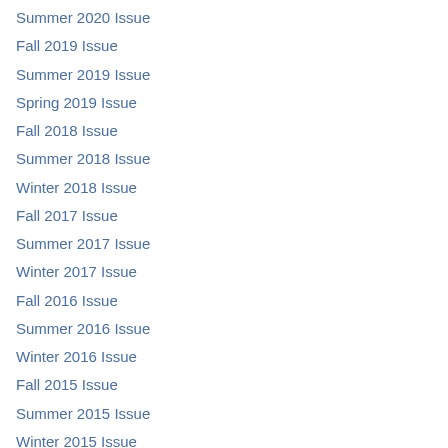Summer 2020 Issue
Fall 2019 Issue
Summer 2019 Issue
Spring 2019 Issue
Fall 2018 Issue
Summer 2018 Issue
Winter 2018 Issue
Fall 2017 Issue
Summer 2017 Issue
Winter 2017 Issue
Fall 2016 Issue
Summer 2016 Issue
Winter 2016 Issue
Fall 2015 Issue
Summer 2015 Issue
Winter 2015 Issue
Fall 2014 Issue
Summer 2014 Issue
Winter 2014 Issue